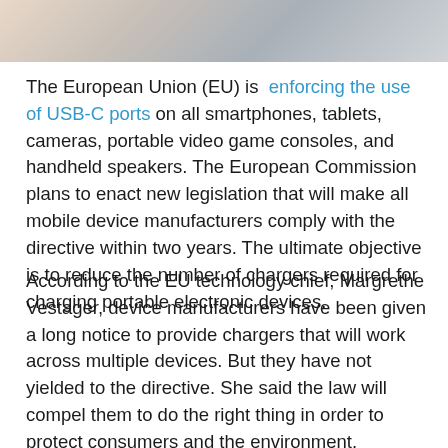[Figure (photo): Partial photo strip at top of page showing a blurred/cropped image, likely of a device or person]
The European Union (EU) is enforcing the use of USB-C ports on all smartphones, tablets, cameras, portable video game consoles, and handheld speakers. The European Commission plans to enact new legislation that will make all mobile device manufacturers comply with the directive within two years. The ultimate objective is to reduce the number of chargers required for charging portable electronic devices.
According to the EU technology chief, Margrethe Vestager, device manufacturers have been given a long notice to provide chargers that will work across multiple devices. But they have not yielded to the directive. She said the law will compel them to do the right thing in order to protect consumers and the environment.